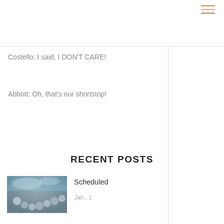Costello: I said, I DON'T CARE!
Abbott: Oh, that's our shortstop!
RECENT POSTS
[Figure (photo): Abstract metallic sphere pattern with clouds in background]
Scheduled
Jan , 1
[Figure (photo): Abstract metallic geometric tile pattern in dark blue/grey]
Advice for stirring your online community and fostering engagement
Nov , 29